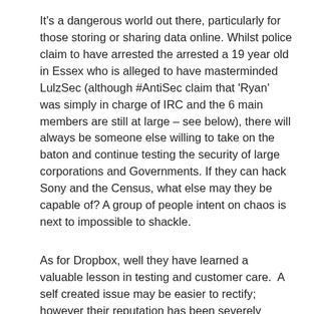It's a dangerous world out there, particularly for those storing or sharing data online. Whilst police claim to have arrested the arrested a 19 year old in Essex who is alleged to have masterminded LulzSec (although #AntiSec claim that 'Ryan' was simply in charge of IRC and the 6 main members are still at large – see below), there will always be someone else willing to take on the baton and continue testing the security of large corporations and Governments. If they can hack Sony and the Census, what else may they be capable of? A group of people intent on chaos is next to impossible to shackle.
As for Dropbox, well they have learned a valuable lesson in testing and customer care.  A self created issue may be easier to rectify; however their reputation has been severely dented. Like Lockheed (if